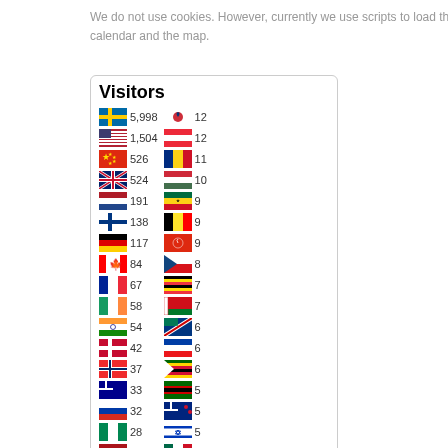We do not use cookies. However, currently we use scripts to load the calendar and the map.
[Figure (infographic): Visitors widget showing country flags and visitor counts. Left column: Sweden 5,998 | USA 1,504 | China 526 | UK 524 | Netherlands 191 | Finland 138 | Germany 117 | Canada 84 | France 67 | Ireland 58 | India 54 | Denmark 42 | Norway 37 | Australia 33 | Russia 32 | Nigeria 28 | Spain 28 | Japan 25 | Poland 24 | Singapore 24. Right column: South Korea 12 | Austria 12 | Romania 11 | Hungary 10 | Ghana 9 | Belgium 9 | Hong Kong 9 | Czech Republic 8 | Uganda 7 | Belarus 7 | Namibia 6 | Slovenia 6 | Zimbabwe 6 | Kenya 5 | New Zealand 5 | Israel 5 | Mexico 5 | Greece 5 | Netherlands 4 | Sri Lanka 4]